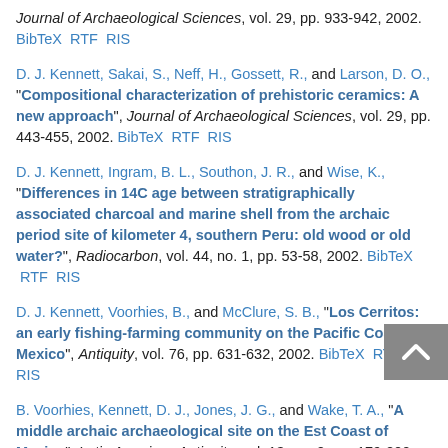Journal of Archaeological Sciences, vol. 29, pp. 933-942, 2002. BibTeX RTF RIS
D. J. Kennett, Sakai, S., Neff, H., Gossett, R., and Larson, D. O., "Compositional characterization of prehistoric ceramics: A new approach", Journal of Archaeological Sciences, vol. 29, pp. 443-455, 2002. BibTeX RTF RIS
D. J. Kennett, Ingram, B. L., Southon, J. R., and Wise, K., "Differences in 14C age between stratigraphically associated charcoal and marine shell from the archaic period site of kilometer 4, southern Peru: old wood or old water?", Radiocarbon, vol. 44, no. 1, pp. 53-58, 2002. BibTeX RTF RIS
D. J. Kennett, Voorhies, B., and McClure, S. B., "Los Cerritos: an early fishing-farming community on the Pacific Coast of Mexico", Antiquity, vol. 76, pp. 631-632, 2002. BibTeX RTF RIS
B. Voorhies, Kennett, D. J., Jones, J. G., and Wake, T. A., "A middle archaic archaeological site on the Est Coast of Mexico", Latin American Antiquity, vol. 13, no. 2, pp. 179-200